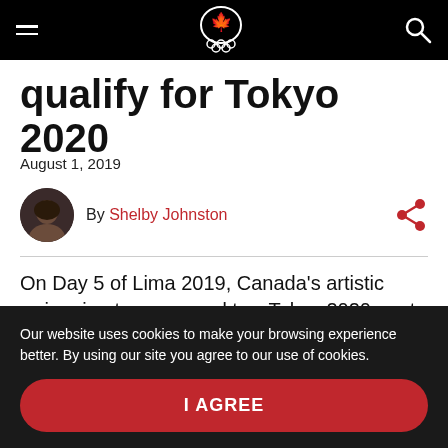Canadian Olympic Committee navigation bar
qualify for Tokyo 2020
August 1, 2019
By Shelby Johnston
On Day 5 of Lima 2019, Canada's artistic swimming team earned two Tokyo 2020 quota spots at Lima
Our website uses cookies to make your browsing experience better. By using our site you agree to our use of cookies.